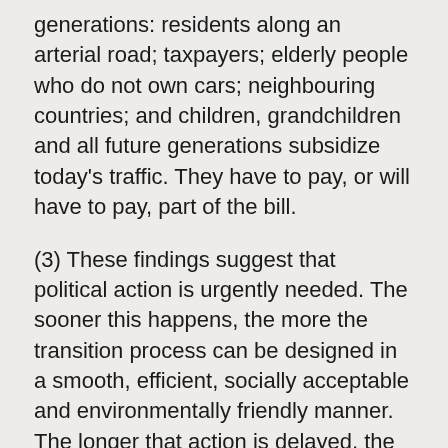generations: residents along an arterial road; taxpayers; elderly people who do not own cars; neighbouring countries; and children, grandchildren and all future generations subsidize today's traffic. They have to pay, or will have to pay, part of the bill.
(3) These findings suggest that political action is urgently needed. The sooner this happens, the more the transition process can be designed in a smooth, efficient, socially acceptable and environmentally friendly manner. The longer that action is delayed, the stricter, more severe and more expensive this process will be.
(5) Economic price settings and regulatory measures, framework settings and (land use) planning measures need at least as much political attention as technology. User price increases by internalising the